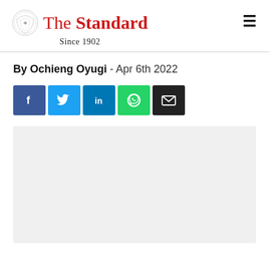The Standard — Since 1902
By Ochieng Oyugi - Apr 6th 2022
[Figure (other): Social media share buttons: Facebook, Twitter, LinkedIn, WhatsApp, Email]
[Figure (photo): Image placeholder (light gray background, content not visible)]